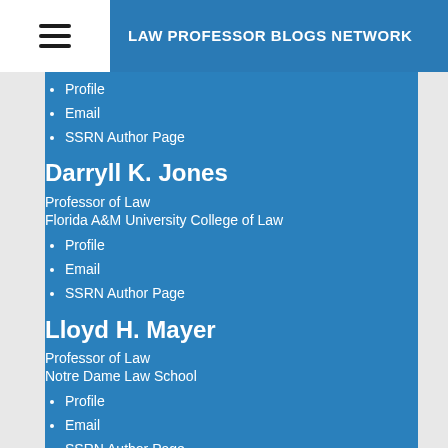LAW PROFESSOR BLOGS NETWORK
Profile
Email
SSRN Author Page
Darryll K. Jones
Professor of Law
Florida A&M University College of Law
Profile
Email
SSRN Author Page
Lloyd H. Mayer
Professor of Law
Notre Dame Law School
Profile
Email
SSRN Author Page